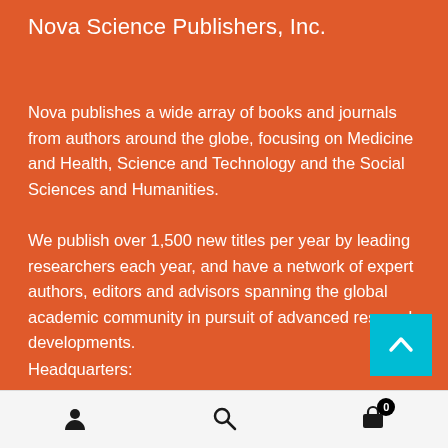Nova Science Publishers, Inc.
Nova publishes a wide array of books and journals from authors around the globe, focusing on Medicine and Health, Science and Technology and the Social Sciences and Humanities.
We publish over 1,500 new titles per year by leading researchers each year, and have a network of expert authors, editors and advisors spanning the global academic community in pursuit of advanced research developments.
Headquarters:
[Figure (other): Teal scroll-to-top button with upward chevron arrow]
User icon | Search icon | Cart icon with badge 0